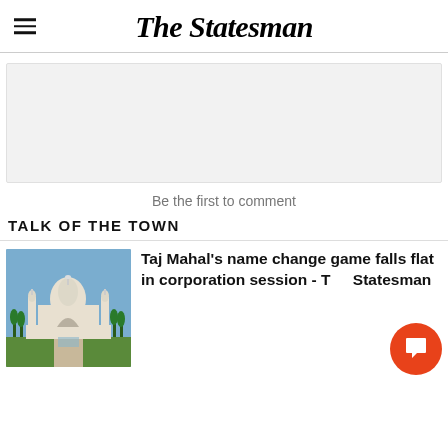The Statesman
[Figure (other): Advertisement placeholder (grey box)]
Be the first to comment
TALK OF THE TOWN
[Figure (photo): Photo of the Taj Mahal with blue sky background and cypress trees in the foreground]
Taj Mahal's name change game falls flat in corporation session - The Statesman